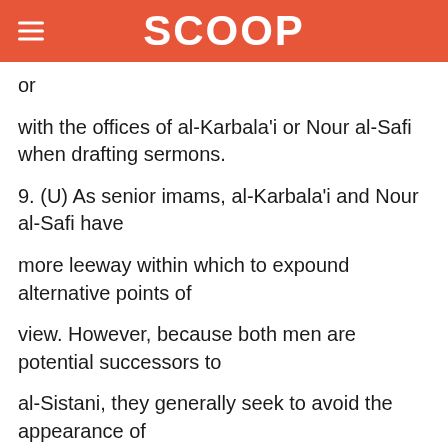SCOOP
or
with the offices of al-Karbala'i or Nour al-Safi when drafting sermons.
9. (U) As senior imams, al-Karbala'i and Nour al-Safi have more leeway within which to expound alternative points of view. However, because both men are potential successors to al-Sistani, they generally seek to avoid the appearance of disagreeing with him or with the Marja'iyah. Imams in the